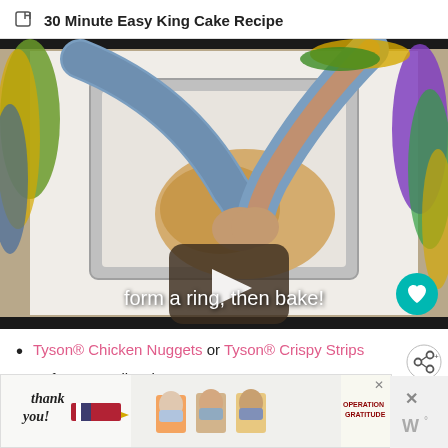30 Minute Easy King Cake Recipe
[Figure (screenshot): Video thumbnail of hands kneading dough on a baking sheet with parchment paper, surrounded by colorful Mardi Gras beads. A play button overlay is visible in the center. Subtitle reads: form a ring, then bake!]
Tyson® Chicken Nuggets or Tyson® Crispy Strips
Soft Mozzarella Cheese
[Figure (photo): Advertisement banner: Thank you with American flag pencil graphic on left, healthcare workers in masks holding food items in center, Operation Gratitude logo on right]